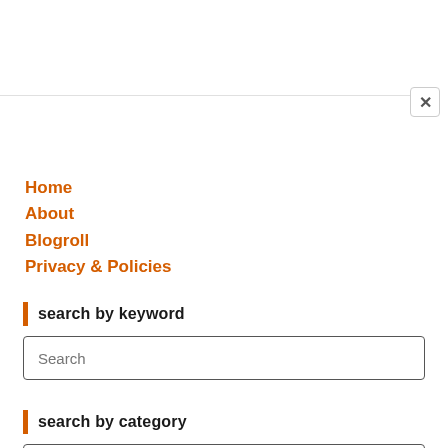Home
About
Blogroll
Privacy & Policies
search by keyword
Search
search by category